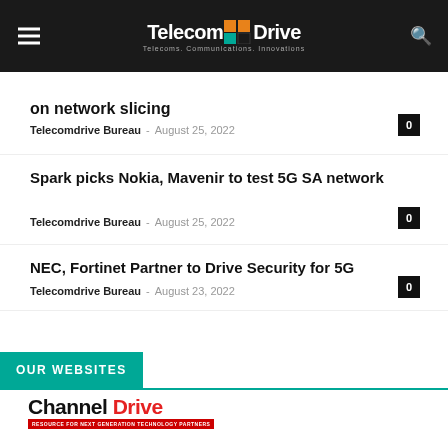TelecomDrive — Telecoms. Communications. Innovations
on network slicing
Telecomdrive Bureau - August 25, 2022
Spark picks Nokia, Mavenir to test 5G SA network
Telecomdrive Bureau - August 25, 2022
NEC, Fortinet Partner to Drive Security for 5G
Telecomdrive Bureau - August 23, 2022
OUR WEBSITES
[Figure (logo): Channel Drive logo — black and red text with red tagline bar]